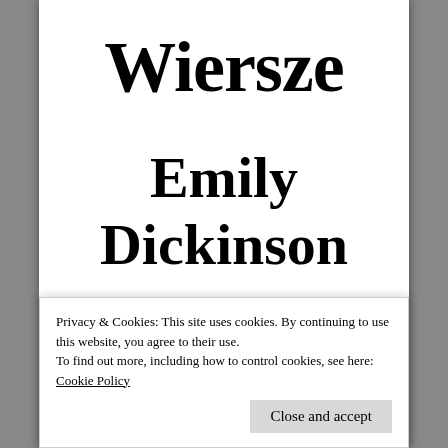Wiersze
Emily Dickinson
[Figure (photo): A floral photograph showing white blossoms and green foliage with warm yellow-golden background tones]
Privacy & Cookies: This site uses cookies. By continuing to use this website, you agree to their use.
To find out more, including how to control cookies, see here:
Cookie Policy
Close and accept